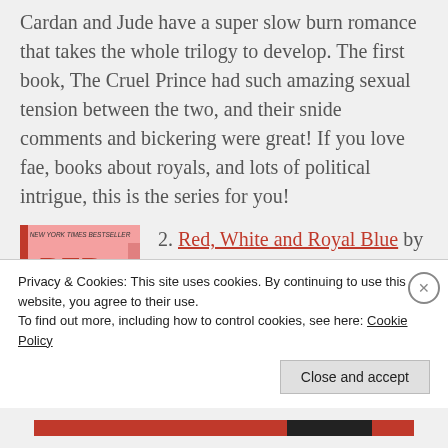Cardan and Jude have a super slow burn romance that takes the whole trilogy to develop. The first book, The Cruel Prince had such amazing sexual tension between the two, and their snide comments and bickering were great! If you love fae, books about royals, and lots of political intrigue, this is the series for you!
[Figure (illustration): Book cover of 'Red, White & Royal Blue' - pink background with illustrated characters, New York Times Bestseller label at top]
2. Red, White and Royal Blue by Casey McQuisten – This is such a cute and sexy read about royalty and fame. It follows the first son of the United States (in an alternate reality where the president is a woman)
Privacy & Cookies: This site uses cookies. By continuing to use this website, you agree to their use.
To find out more, including how to control cookies, see here: Cookie Policy